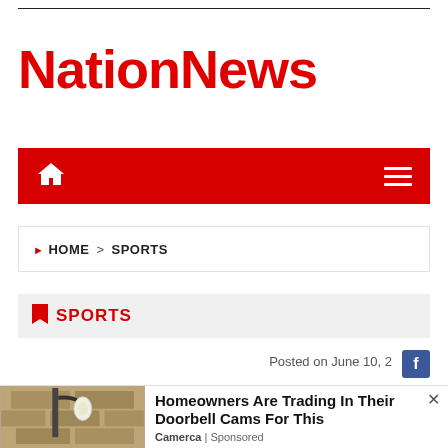NationNews
[Figure (screenshot): Red navigation bar with home icon on left and hamburger menu icon on right]
HOME > SPORTS
SPORTS
Posted on June 10, 2
[Figure (screenshot): Advertisement: Homeowners Are Trading In Their Doorbell Cams For This - Camerca | Sponsored, with image of outdoor security camera]